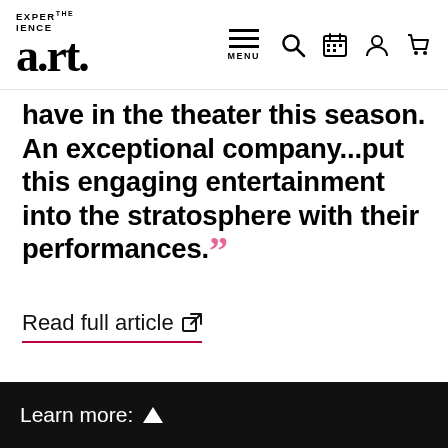Experience the a.r.t. — navigation bar with logo and icons
have in the theater this season. An exceptional company...put this engaging entertainment into the stratosphere with their performances.""
Read full article
Learn more: